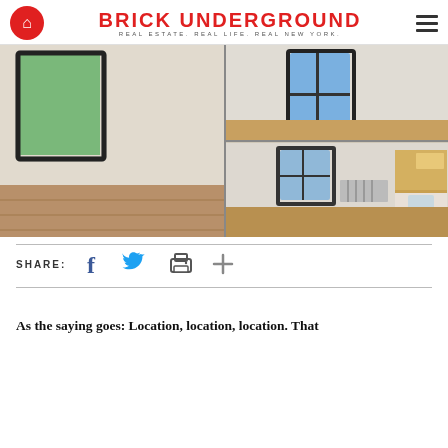BRICK UNDERGROUND — REAL ESTATE. REAL LIFE. REAL NEW YORK.
[Figure (photo): Collage of apartment interior photos showing empty rooms with hardwood floors, large windows, and a kitchen area.]
SHARE:
As the saying goes: Location, location, location. That